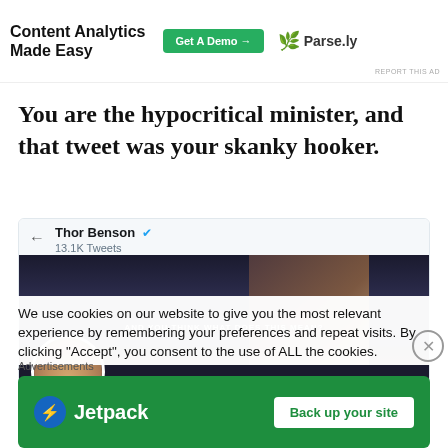[Figure (screenshot): Parse.ly advertisement banner: 'Content Analytics Made Easy' with green 'Get A Demo' button and Parse.ly logo with leaf icon]
REPORT THIS AD
You are the hypocritical minister, and that tweet was your skanky hooker.
[Figure (screenshot): Twitter profile screenshot for Thor Benson showing verified checkmark, 13.1K Tweets, dark banner image with movie still showing text 'AND YOU THINK WHAT DOES THIS MEAN?' and circular avatar profile photo]
We use cookies on our website to give you the most relevant experience by remembering your preferences and repeat visits. By clicking "Accept", you consent to the use of ALL the cookies.
Advertisements
[Figure (screenshot): Jetpack advertisement: green background with Jetpack logo (blue circular icon with lightning bolt) and white 'Back up your site' button]